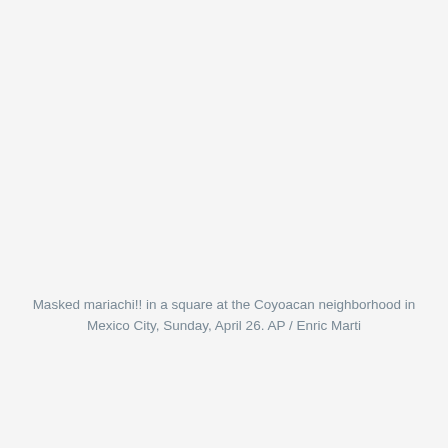Masked mariachi!! in a square at the Coyoacan neighborhood in Mexico City, Sunday, April 26. AP / Enric Marti